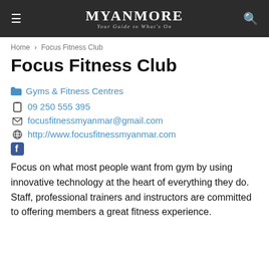MYANMORE — Your Guide to What's On
Home > Focus Fitness Club
Focus Fitness Club
Gyms & Fitness Centres
09 250 555 395
focusfitnessmyanmar@gmail.com
http://www.focusfitnessmyanmar.com
Facebook icon
Focus on what most people want from gym by using innovative technology at the heart of everything they do. Staff, professional trainers and instructors are committed to offering members a great fitness experience.